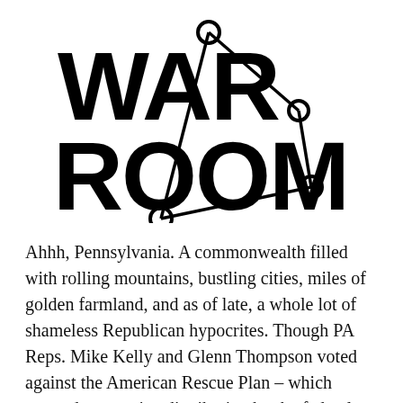[Figure (logo): War Room logo: bold black block letters spelling WAR ROOM on two lines, with a constellation-style network graphic overlaid (circles connected by lines) on the letters]
Ahhh, Pennsylvania. A commonwealth filled with rolling mountains, bustling cities, miles of golden farmland, and as of late, a whole lot of shameless Republican hypocrites. Though PA Reps. Mike Kelly and Glenn Thompson voted against the American Rescue Plan – which ramped up vaccine distribution by the federal government –